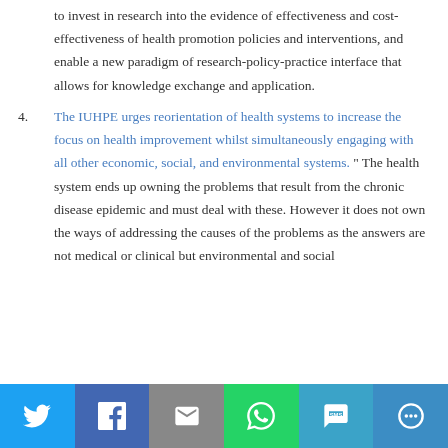to invest in research into the evidence of effectiveness and cost-effectiveness of health promotion policies and interventions, and enable a new paradigm of research-policy-practice interface that allows for knowledge exchange and application.
4. The IUHPE urges reorientation of health systems to increase the focus on health improvement whilst simultaneously engaging with all other economic, social, and environmental systems. " The health system ends up owning the problems that result from the chronic disease epidemic and must deal with these. However it does not own the ways of addressing the causes of the problems as the answers are not medical or clinical but environmental and social
[Figure (infographic): Social media share bar with buttons for Twitter, Facebook, Email, WhatsApp, SMS, and More]